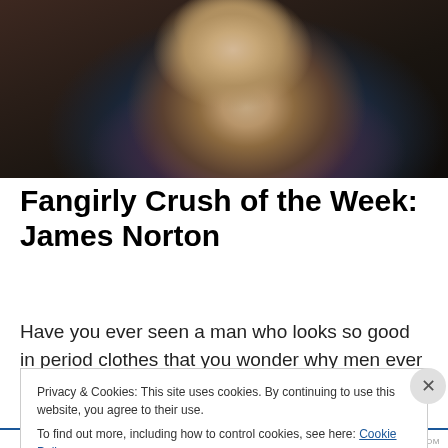[Figure (photo): Close-up photo of a young man with stubble, wearing a dark navy jacket over a purple knit sweater, with a dark blurred background.]
Fangirly Crush of the Week: James Norton
Have you ever seen a man who looks so good in period clothes that you wonder why men ever stopped wearing
Privacy & Cookies: This site uses cookies. By continuing to use this website, you agree to their use.
To find out more, including how to control cookies, see here: Cookie Policy
Close and accept